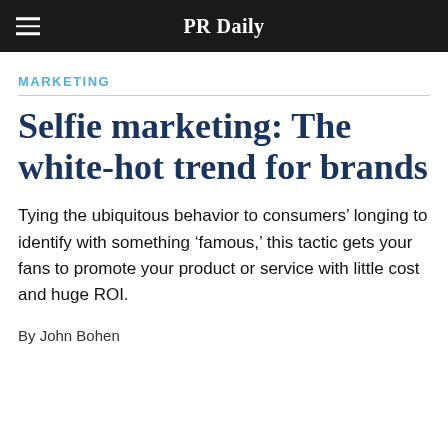PR Daily
MARKETING
Selfie marketing: The white-hot trend for brands
Tying the ubiquitous behavior to consumers’ longing to identify with something ‘famous,’ this tactic gets your fans to promote your product or service with little cost and huge ROI.
By John Bohen